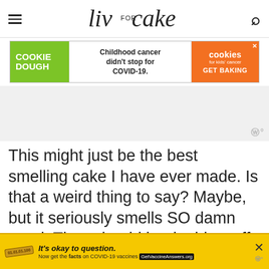liv for cake
[Figure (screenshot): Advertisement banner: COOKIE DOUGH (green) | Childhood cancer didn't stop for COVID-19. | cookies for kids' cancer GET BAKING (orange)]
[Figure (other): Gray advertisement placeholder area with wavy 'w' logo watermark in bottom right]
This might just be the best smelling cake I have ever made. Is that a weird thing to say? Maybe, but it seriously smells SO damn good. They should bottle this stuff – it's intoxicating. I adapted this Bundt from last year's Rum & Eggnog...
[Figure (screenshot): Bottom advertisement banner in yellow: stamped label, 'It's okay to question. Now get the facts on COVID-19 vaccines GetVaccineAnswers.org']